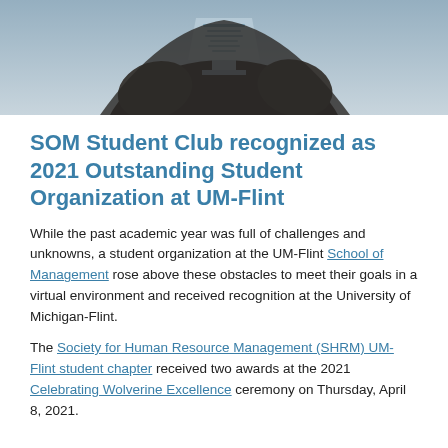[Figure (photo): Person holding a glass award trophy with text about Outstanding Student Organization Award, dark shirt, partial body shot]
SOM Student Club recognized as 2021 Outstanding Student Organization at UM-Flint
While the past academic year was full of challenges and unknowns, a student organization at the UM-Flint School of Management rose above these obstacles to meet their goals in a virtual environment and received recognition at the University of Michigan-Flint.
The Society for Human Resource Management (SHRM) UM-Flint student chapter received two awards at the 2021 Celebrating Wolverine Excellence ceremony on Thursday, April 8, 2021.